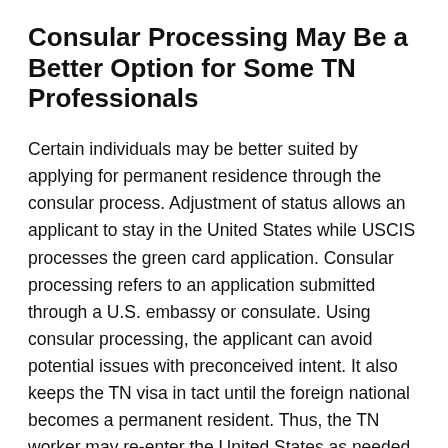Consular Processing May Be a Better Option for Some TN Professionals
Certain individuals may be better suited by applying for permanent residence through the consular process. Adjustment of status allows an applicant to stay in the United States while USCIS processes the green card application. Consular processing refers to an application submitted through a U.S. embassy or consulate. Using consular processing, the applicant can avoid potential issues with preconceived intent. It also keeps the TN visa in tact until the foreign national becomes a permanent resident. Thus, the TN worker may re-enter the United States as needed for employment and depart when it is time to